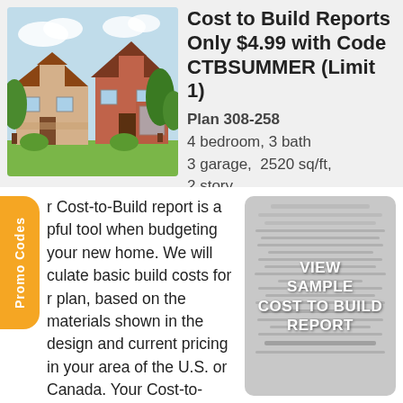[Figure (illustration): Illustrated rendering of a two-story craftsman-style house with trees and landscaping]
Cost to Build Reports Only $4.99 with Code CTBSUMMER (Limit 1)
Plan 308-258
4 bedroom, 3 bath
3 garage,  2520 sq/ft,
2 story
Promo Codes
r Cost-to-Build report is a pful tool when budgeting your new home. We will culate basic build costs for r plan, based on the materials shown in the design and current pricing in your area of the U.S. or Canada. Your Cost-to-Build reports
[Figure (screenshot): Sample Cost to Build Report document with overlay text: VIEW SAMPLE COST TO BUILD REPORT]